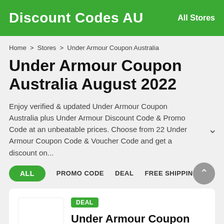Discount Codes AU   All Stores
Home > Stores > Under Armour Coupon Australia
Under Armour Coupon Australia August 2022
Enjoy verified & updated Under Armour Coupon Australia plus Under Armour Discount Code & Promo Code at an unbeatable prices. Choose from 22 Under Armour Coupon Code & Voucher Code and get a discount on...
ALL
PROMO CODE
DEAL
FREE SHIPPING
DEAL
Under Armour Coupon Australia